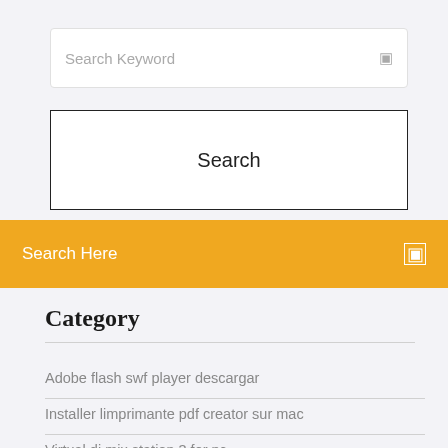Search Keyword
Search
Search Here
Category
Adobe flash swf player descargar
Installer limprimante pdf creator sur mac
Virtual dj mix station 3 for pc